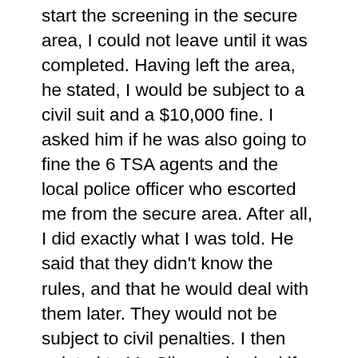start the screening in the secure area, I could not leave until it was completed. Having left the area, he stated, I would be subject to a civil suit and a $10,000 fine. I asked him if he was also going to fine the 6 TSA agents and the local police officer who escorted me from the secure area. After all, I did exactly what I was told. He said that they didn't know the rules, and that he would deal with them later. They would not be subject to civil penalties. I then pointed to Mr. Silva and asked if he would be subject to any penalties. He is the agents' supervisor, and he directed them to escort me out. The man informed me that Mr. Silva was new and he would not be subject to penalties, either. He again asserted the necessity that I return to the screening area. When I asked why, he explained that I may have an incendiary device and whether or not that was true needed to be determined. I told him that I would submit to a walk through the metal detector, but that was it; I would not be groped. He told me that their procedures are on their website, and therefore, I was fully informed before I entered the airport; I had implicitly agreed to